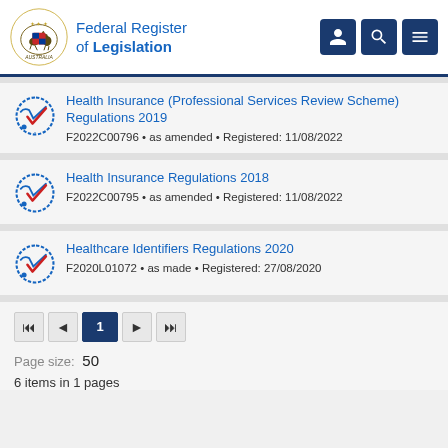Federal Register of Legislation
Health Insurance (Professional Services Review Scheme) Regulations 2019 — F2022C00796 • as amended • Registered: 11/08/2022
Health Insurance Regulations 2018 — F2022C00795 • as amended • Registered: 11/08/2022
Healthcare Identifiers Regulations 2020 — F2020L01072 • as made • Registered: 27/08/2020
Page size: 50
6 items in 1 pages